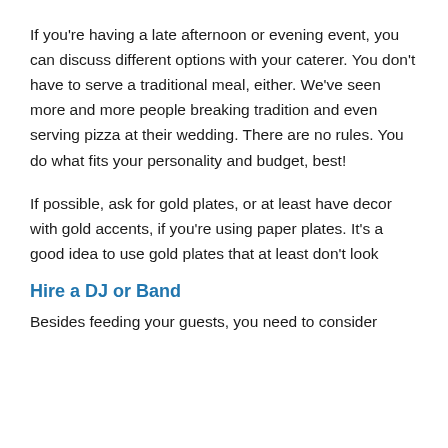If you're having a late afternoon or evening event, you can discuss different options with your caterer. You don't have to serve a traditional meal, either. We've seen more and more people breaking tradition and even serving pizza at their wedding. There are no rules. You do what fits your personality and budget, best!
If possible, ask for gold plates, or at least have decor with gold accents, if you're using paper plates. It's a good idea to use gold plates that at least don't look
Hire a DJ or Band
Besides feeding your guests, you need to consider